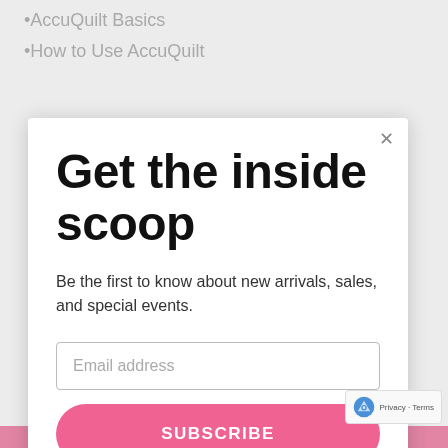AccuQuilt Basics
How to Use AccuQuilt
Get the inside scoop
Be the first to know about new arrivals, sales, and special events.
Email address
SUBSCRIBE